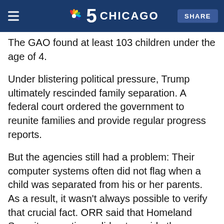NBC 5 Chicago
The GAO found at least 103 children under the age of 4.
Under blistering political pressure, Trump ultimately rescinded family separation. A federal court ordered the government to reunite families and provide regular progress reports.
But the agencies still had a problem: Their computer systems often did not flag when a child was separated from his or her parents. As a result, it wasn't always possible to verify that crucial fact. ORR said that Homeland Security sometimes did not provide the information.
Before the agencies made changes "data systems did not include a designated field to indicate that a child was